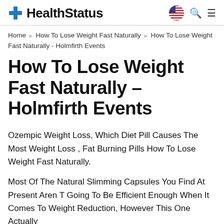HealthStatus
Home › How To Lose Weight Fast Naturally › How To Lose Weight Fast Naturally - Holmfirth Events
How To Lose Weight Fast Naturally – Holmfirth Events
Ozempic Weight Loss, Which Diet Pill Causes The Most Weight Loss , Fat Burning Pills How To Lose Weight Fast Naturally.
Most Of The Natural Slimming Capsules You Find At Present Aren T Going To Be Efficient Enough When It Comes To Weight Reduction, However This One Actually